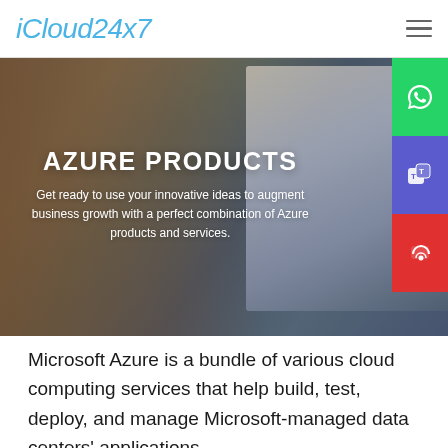iCloud24x7
[Figure (photo): Hero banner showing a woman working at a computer desk with a large monitor, overlaid with text about Azure Products. Side buttons for WhatsApp, Microsoft Teams, and phone contact are visible on the right.]
AZURE PRODUCTS
Get ready to use your innovative ideas to augment business growth with a perfect combination of Azure products and services.
Microsoft Azure is a bundle of various cloud computing services that help build, test, deploy, and manage Microsoft-managed data centers' applications.